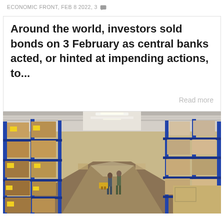ECONOMIC FRONT, feb 8 2022, 3
Around the world, investors sold bonds on 3 February as central banks acted, or hinted at impending actions, to...
Read more
[Figure (photo): Interior of a large warehouse with tall metal shelving racks stacked with cardboard boxes marked with yellow labels. Workers visible in the aisle, overhead fluorescent lighting, blue steel framework structure.]